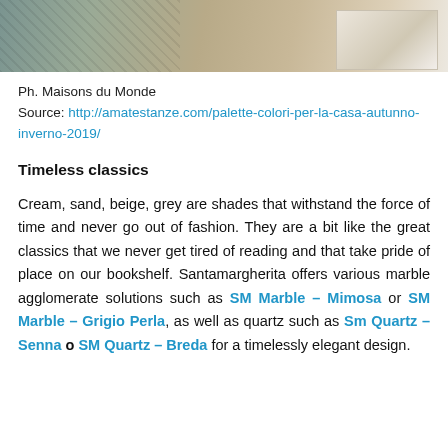[Figure (photo): Cropped interior photo showing a patterned rug/textile and furniture elements, partial view from top of page]
Ph. Maisons du Monde
Source: http://amatestanze.com/palette-colori-per-la-casa-autunno-inverno-2019/
Timeless classics
Cream, sand, beige, grey are shades that withstand the force of time and never go out of fashion. They are a bit like the great classics that we never get tired of reading and that take pride of place on our bookshelf. Santamargherita offers various marble agglomerate solutions such as SM Marble – Mimosa or SM Marble – Grigio Perla, as well as quartz such as Sm Quartz – Senna o SM Quartz – Breda for a timelessly elegant design.